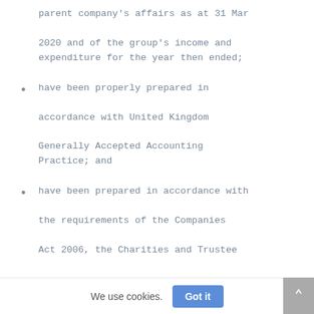parent company's affairs as at 31 Mar 2020 and of the group's income and expenditure for the year then ended;
have been properly prepared in accordance with United Kingdom Generally Accepted Accounting Practice; and
have been prepared in accordance with the requirements of the Companies Act 2006, the Charities and Trustee...